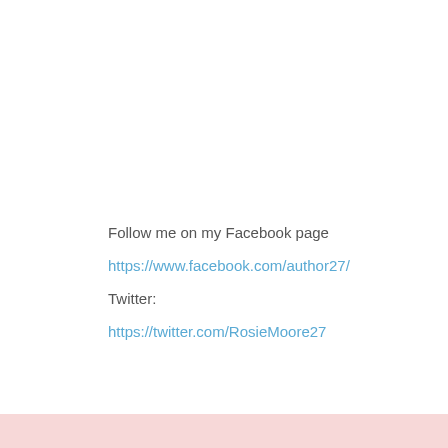Follow me on my Facebook page
https://www.facebook.com/author27/
Twitter:
https://twitter.com/RosieMoore27